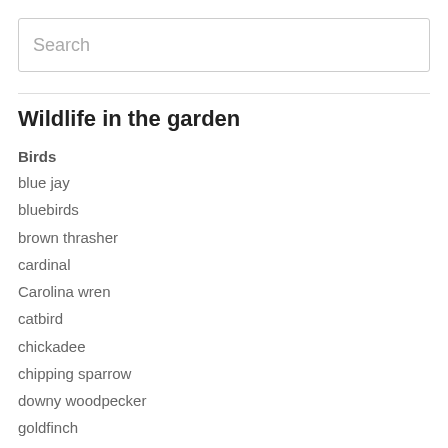Search
Wildlife in the garden
Birds
blue jay
bluebirds
brown thrasher
cardinal
Carolina wren
catbird
chickadee
chipping sparrow
downy woodpecker
goldfinch
house finch
mockingbird